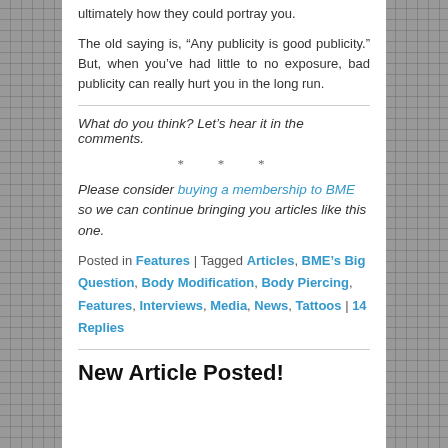ultimately how they could portray you.
The old saying is, “Any publicity is good publicity.” But, when you’ve had little to no exposure, bad publicity can really hurt you in the long run.
What do you think? Let’s hear it in the comments.
* * *
Please consider buying a membership to BME so we can continue bringing you articles like this one.
Posted in Features | Tagged Articles, BME’s Big Question, Body Modification, Body Piercing, Features, Interviews, Media, News, Tattoos | 14 Replies
New Article Posted!